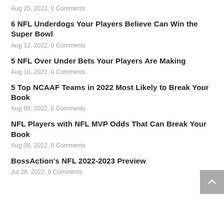Aug 25, 2022, 0 Comments
6 NFL Underdogs Your Players Believe Can Win the Super Bowl
Aug 12, 2022, 0 Comments
5 NFL Over Under Bets Your Players Are Making
Aug 10, 2022, 0 Comments
5 Top NCAAF Teams in 2022 Most Likely to Break Your Book
Aug 09, 2022, 0 Comments
NFL Players with NFL MVP Odds That Can Break Your Book
Aug 05, 2022, 0 Comments
BossAction's NFL 2022-2023 Preview
Jul 28, 2022, 0 Comments